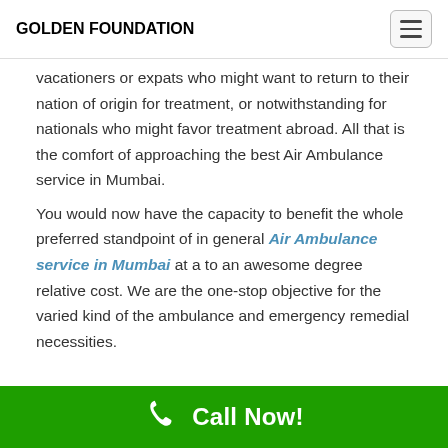GOLDEN FOUNDATION
vacationers or expats who might want to return to their nation of origin for treatment, or notwithstanding for nationals who might favor treatment abroad. All that is the comfort of approaching the best Air Ambulance service in Mumbai. You would now have the capacity to benefit the whole preferred standpoint of in general Air Ambulance service in Mumbai at a to an awesome degree relative cost. We are the one-stop objective for the varied kind of the ambulance and emergency remedial necessities.
Call Now!